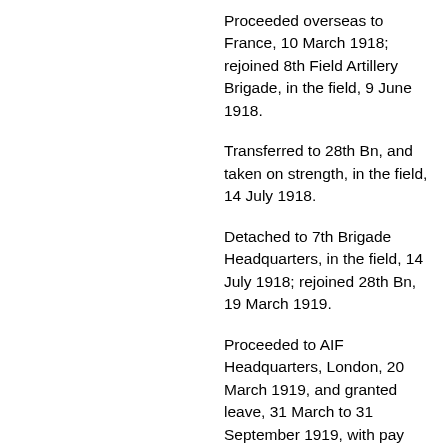Proceeded overseas to France, 10 March 1918; rejoined 8th Field Artillery Brigade, in the field, 9 June 1918.
Transferred to 28th Bn, and taken on strength, in the field, 14 July 1918.
Detached to 7th Brigade Headquarters, in the field, 14 July 1918; rejoined 28th Bn, 19 March 1919.
Proceeded to AIF Headquarters, London, 20 March 1919, and granted leave, 31 March to 31 September 1919, with pay and subsistence, to undertake Non-Military Employment: photography with J.C. Harper, Leith Walk, Leith. Final report stated: 'During the term of his employment with Mr Harper,